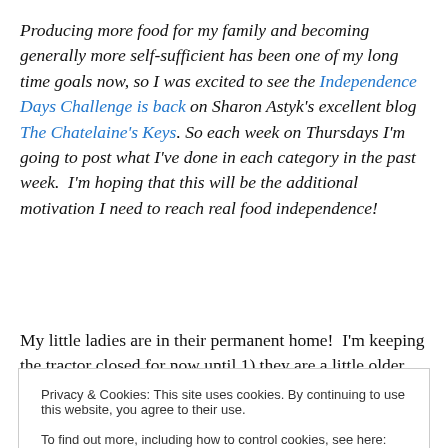Producing more food for my family and becoming generally more self-sufficient has been one of my long time goals now, so I was excited to see the Independence Days Challenge is back on Sharon Astyk's excellent blog The Chatelaine's Keys. So each week on Thursdays I'm going to post what I've done in each category in the past week.  I'm hoping that this will be the additional motivation I need to reach real food independence!
My little ladies are in their permanent home!  I'm keeping the tractor closed for now until 1) they are a little older and
Privacy & Cookies: This site uses cookies. By continuing to use this website, you agree to their use.
To find out more, including how to control cookies, see here: Cookie Policy
entire backyard (with supervision because my last